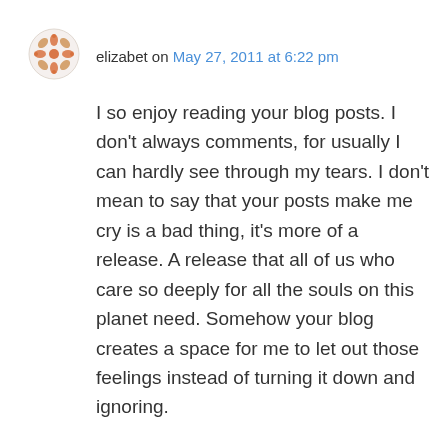[Figure (illustration): Decorative avatar icon with floral/snowflake pattern in orange/red tones]
elizabet on May 27, 2011 at 6:22 pm
I so enjoy reading your blog posts. I don't always comments, for usually I can hardly see through my tears. I don't mean to say that your posts make me cry is a bad thing, it's more of a release. A release that all of us who care so deeply for all the souls on this planet need. Somehow your blog creates a space for me to let out those feelings instead of turning it down and ignoring.
Another thing is that it reminds me to cherish Bina. I've talked openly to her for quite a few years now about how I will miss her and how thankful I am for her. It will be so hard to lose her